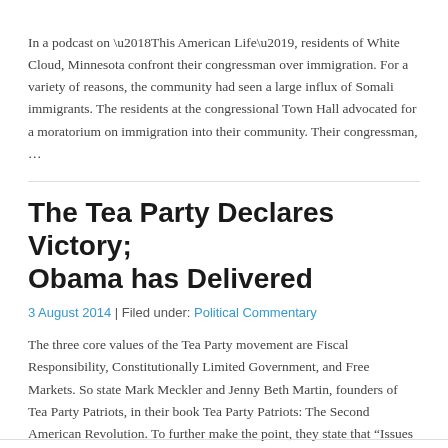In a podcast on ‘This American Life’, residents of White Cloud, Minnesota confront their congressman over immigration. For a variety of reasons, the community had seen a large influx of Somali immigrants. The residents at the congressional Town Hall advocated for a moratorium on immigration into their community. Their congressman, …
The Tea Party Declares Victory; Obama has Delivered
3 August 2014 | Filed under: Political Commentary
The three core values of the Tea Party movement are Fiscal Responsibility, Constitutionally Limited Government, and Free Markets. So state Mark Meckler and Jenny Beth Martin, founders of Tea Party Patriots, in their book Tea Party Patriots: The Second American Revolution. To further make the point, they state that “Issues …